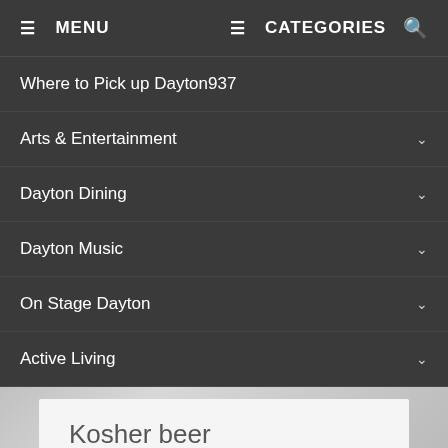☰ MENU   ☰ CATEGORIES   🔍
Where to Pick up Dayton937
Arts & Entertainment
Dayton Dining
Dayton Music
On Stage Dayton
Active Living
Kosher beer